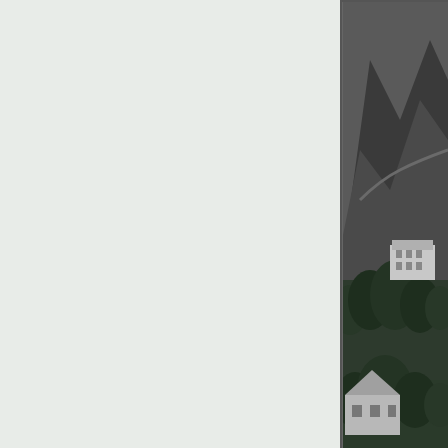[Figure (photo): Black and white panoramic photograph from 1924 showing buildings nestled among trees on a hillside with mountains in the background. A large multi-story white building is prominently visible in the lower portion, and other structures are visible higher up the hill.]
(1924)^*** – Panoramic v... it and to the left can be...